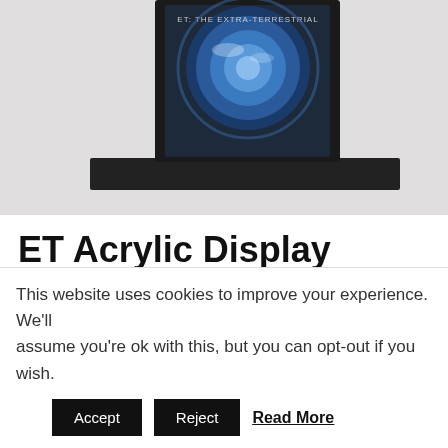[Figure (photo): ET Acrylic Display Frame product photo showing a framed movie poster on a black shelf/stand with a glowing blue planet earth image]
ET Acrylic Display Frame
£9.99 – £20.20
A bespoke and unique acrylic mount insert that will fit perfectly into the IKEA Ribba frame (230mm
This website uses cookies to improve your experience. We'll assume you're ok with this, but you can opt-out if you wish.
Accept   Reject   Read More